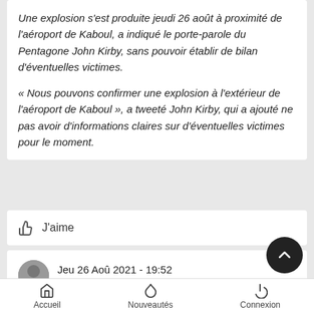Une explosion s'est produite jeudi 26 août à proximité de l'aéroport de Kaboul, a indiqué le porte-parole du Pentagone John Kirby, sans pouvoir établir de bilan d'éventuelles victimes.
« Nous pouvons confirmer une explosion à l'extérieur de l'aéroport de Kaboul », a tweeté John Kirby, qui a ajouté ne pas avoir d'informations claires sur d'éventuelles victimes pour le moment.
J'aime
Jeu 26 Aoû 2021 - 19:52
par Rammstein
« Je confirme que l'explosion à Abbey Gate est due à un atte complexe qui a fait un certain nombre de victimes américaines et
Accueil   Nouveautés   Connexion